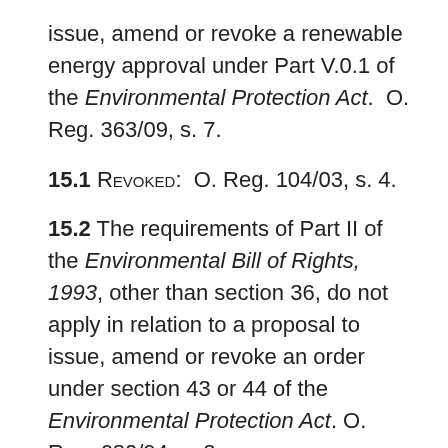issue, amend or revoke a renewable energy approval under Part V.0.1 of the Environmental Protection Act.  O. Reg. 363/09, s. 7.
15.1 REVOKED:  O. Reg. 104/03, s. 4.
15.2 The requirements of Part II of the Environmental Bill of Rights, 1993, other than section 36, do not apply in relation to a proposal to issue, amend or revoke an order under section 43 or 44 of the Environmental Protection Act.  O. Reg. 680/94, s. 2.
15.3 (1) The requirements of Part II of the Environmental Bill of Rights, 1993 do not apply in relation to a proposal to issue, amend or revoke